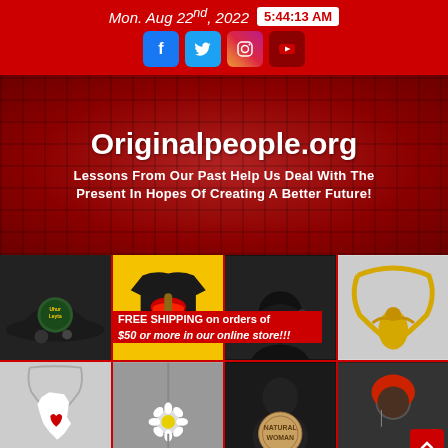Mon. Aug 22nd, 2022  5:44:13 AM
[Figure (infographic): Social media icons: Facebook, Twitter, Instagram, YouTube]
Originalpeople.org
Lessons From Our Past Help Us Deal With The Present In Hopes Of Creating A Better Future!
[Figure (photo): Product grid showing hats, t-shirts, earrings, necklaces, and jewelry items for an online store]
FREE SHIPPING on orders of $50 or more in our online store!!!